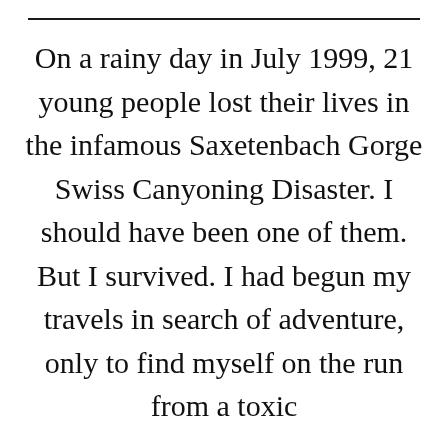On a rainy day in July 1999, 21 young people lost their lives in the infamous Saxetenbach Gorge Swiss Canyoning Disaster. I should have been one of them. But I survived. I had begun my travels in search of adventure, only to find myself on the run from a toxic